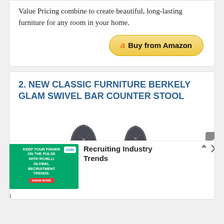Value Pricing combine to create beautiful, long-lasting furniture for any room in your home.
Buy from Amazon
2. NEW CLASSIC FURNITURE BERKELY GLAM SWIVEL BAR COUNTER STOOL
[Figure (photo): Two gray upholstered swivel bar counter stools with wood bases and diamond-stitched backrests]
[Figure (infographic): Advertisement: RChilli Global Recruitment Trends banner with Recruiting Industry Trends text]